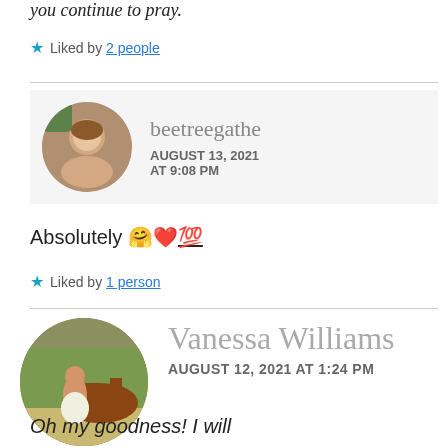you continue to pray.
Liked by 2 people
[Figure (photo): Circular avatar photo of a woman with reddish hair smiling]
beetreegathe
AUGUST 13, 2021 AT 9:08 PM
Absolutely 🤗❤️💯
Liked by 1 person
[Figure (photo): Circular avatar photo of a woman with a horse outdoors]
Vanessa Williams
AUGUST 12, 2021 AT 1:24 PM
Oh my goodness! I will